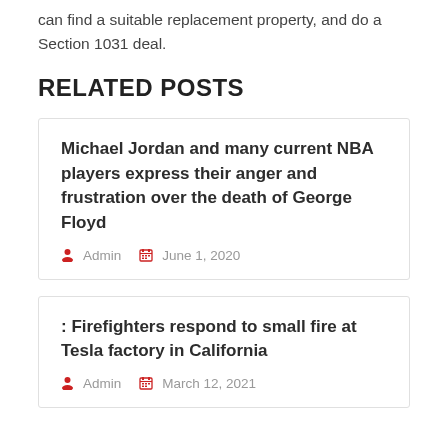can find a suitable replacement property, and do a Section 1031 deal.
RELATED POSTS
Michael Jordan and many current NBA players express their anger and frustration over the death of George Floyd
Admin  June 1, 2020
: Firefighters respond to small fire at Tesla factory in California
Admin  March 12, 2021